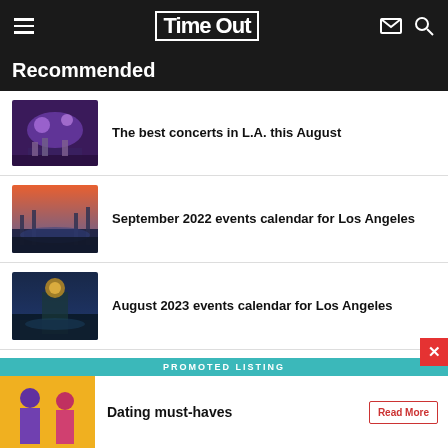Time Out
Recommended
The best concerts in L.A. this August
September 2022 events calendar for Los Angeles
August 2023 events calendar for Los Angeles
[Figure (screenshot): Promoted listing ad banner: 'Dating must-haves' with Read More button and two people on yellow background]
PROMOTED LISTING